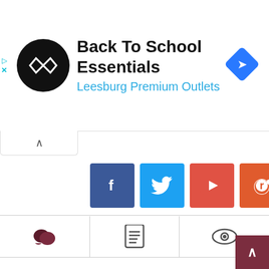[Figure (screenshot): Ad banner for Back To School Essentials at Leesburg Premium Outlets with logo, text and direction icon]
[Figure (screenshot): Row of social media icon buttons: Facebook, Twitter, YouTube, Reddit, Twitch, RSS, Discord]
[Figure (screenshot): Tab row with comments icon, document icon, and eye/view icon]
amm1
My reaction: consider the source. I gather that in the UK, t...
anbheal
Inconthievable!...